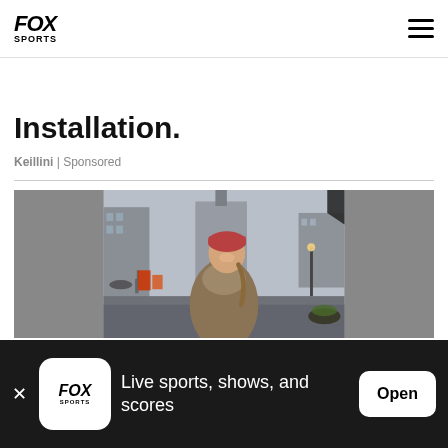FOX SPORTS
Installation.
Keillini | Sponsored
[Figure (photo): Smiling woman wearing a red knit hat and tan coat with a scarf, standing outdoors on a city street on a cloudy day]
Live sports, shows, and scores
Open